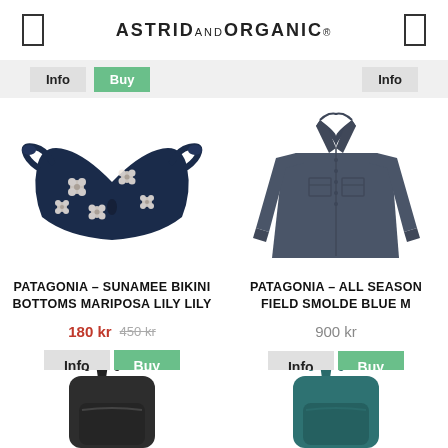ASTRID&ORGANIC
[Figure (screenshot): Partial Info and Buy buttons from previous product row]
[Figure (photo): Navy blue bikini bottoms with white floral pattern (Patagonia Sunamee Bikini Bottoms Mariposa Lily Lily)]
PATAGONIA - SUNAMEE BIKINI BOTTOMS MARIPOSA LILY LILY
180 kr  450 kr
[Figure (photo): Dark navy/grey long-sleeve button-up shirt (Patagonia All Season Field Smolde Blue M)]
PATAGONIA - ALL SEASON FIELD SMOLDE BLUE M
900 kr
[Figure (photo): Black backpack partially visible at bottom left]
[Figure (photo): Teal/dark green backpack partially visible at bottom right]